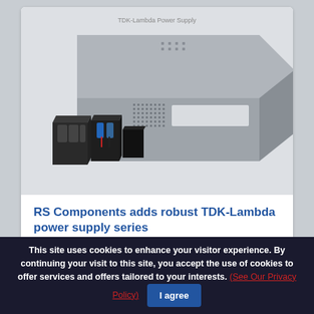[Figure (photo): Photo of a TDK-Lambda power supply unit — a rectangular metal enclosure with ventilation holes and terminal connectors on the front face, shown in a perspective/isometric view.]
RS Components adds robust TDK-Lambda power supply series
This site uses cookies to enhance your visitor experience. By continuing your visit to this site, you accept the use of cookies to offer services and offers tailored to your interests. (See Our Privacy Policy)  I agree